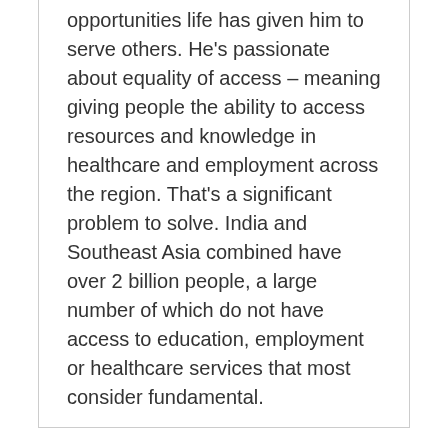opportunities life has given him to serve others. He's passionate about equality of access – meaning giving people the ability to access resources and knowledge in healthcare and employment across the region. That's a significant problem to solve. India and Southeast Asia combined have over 2 billion people, a large number of which do not have access to education, employment or healthcare services that most consider fundamental.